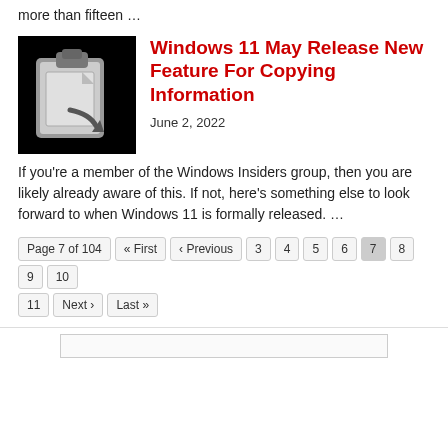more than fifteen …
[Figure (illustration): Clipboard icon with a document and arrow on black background]
Windows 11 May Release New Feature For Copying Information
June 2, 2022
If you're a member of the Windows Insiders group, then you are likely already aware of this. If not, here's something else to look forward to when Windows 11 is formally released.  …
Page 7 of 104  « First  ‹ Previous  3  4  5  6  7  8  9  10  11  Next ›  Last »